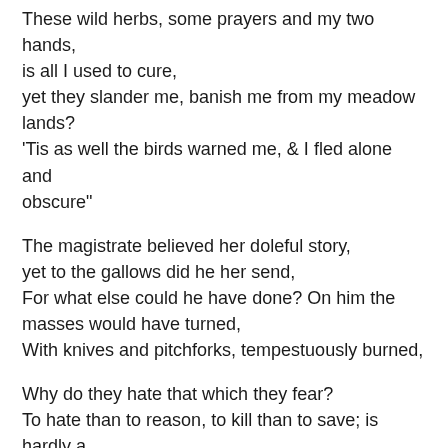These wild herbs, some prayers and my two hands, is all I used to cure,
yet they slander me, banish me from my meadow lands?
'Tis as well the birds warned me, & I fled alone and obscure"
The magistrate believed her doleful story,
yet to the gallows did he her send,
For what else could he have done? On him the masses would have turned,
With knives and pitchforks, tempestuously burned,
Why do they hate that which they fear?
To hate than to reason, to kill than to save; is hardly a glitch,
To the gallows did she leave, with a prayer and a tear,
While the crowds in unison sang, "Burn, burn the Evil Witch"